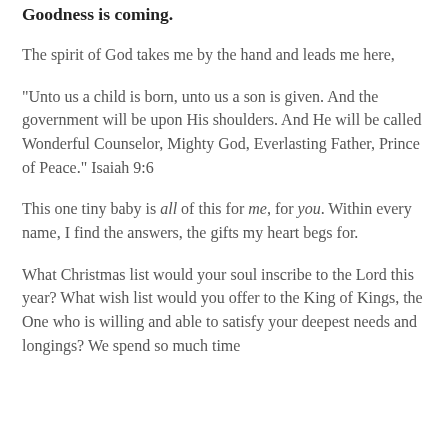Goodness is coming.
The spirit of God takes me by the hand and leads me here,
“Unto us a child is born, unto us a son is given. And the government will be upon His shoulders. And He will be called Wonderful Counselor, Mighty God, Everlasting Father, Prince of Peace.” Isaiah 9:6
This one tiny baby is all of this for me, for you. Within every name, I find the answers, the gifts my heart begs for.
What Christmas list would your soul inscribe to the Lord this year? What wish list would you offer to the King of Kings, the One who is willing and able to satisfy your deepest needs and longings? We spend so much time